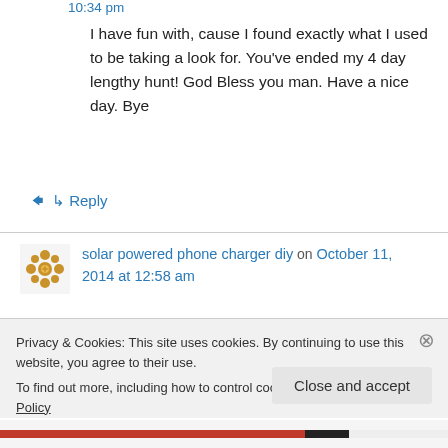10:34 pm
I have fun with, cause I found exactly what I used to be taking a look for. You've ended my 4 day lengthy hunt! God Bless you man. Have a nice day. Bye
↳ Reply
solar powered phone charger diy on October 11, 2014 at 12:58 am
Now, find out what that effect is, as a result of b...
Privacy & Cookies: This site uses cookies. By continuing to use this website, you agree to their use.
To find out more, including how to control cookies, see here: Cookie Policy
Close and accept